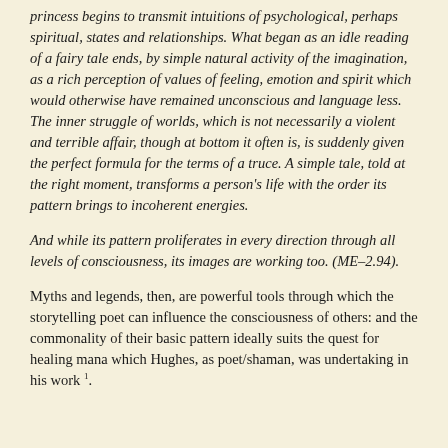princess begins to transmit intuitions of psychological, perhaps spiritual, states and relationships. What began as an idle reading of a fairy tale ends, by simple natural activity of the imagination, as a rich perception of values of feeling, emotion and spirit which would otherwise have remained unconscious and language less. The inner struggle of worlds, which is not necessarily a violent and terrible affair, though at bottom it often is, is suddenly given the perfect formula for the terms of a truce. A simple tale, told at the right moment, transforms a person's life with the order its pattern brings to incoherent energies.
And while its pattern proliferates in every direction through all levels of consciousness, its images are working too. (ME–2.94).
Myths and legends, then, are powerful tools through which the storytelling poet can influence the consciousness of others: and the commonality of their basic pattern ideally suits the quest for healing mana which Hughes, as poet/shaman, was undertaking in his work 1.